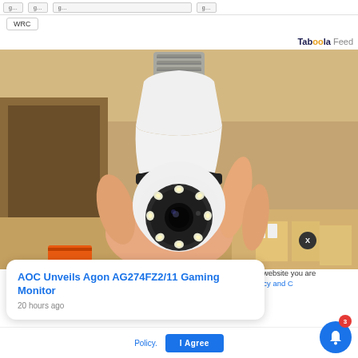WRC
Taboola Feed
[Figure (photo): A hand holding a light-bulb shaped wireless security camera with LED ring, showing the E27 screw base at top, in a warehouse/storage background with cardboard boxes. Camera has a pan-tilt head with circular LED array and central lens.]
AOC Unveils Agon AG274FZ2/11 Gaming Monitor
20 hours ago
his website you are
rivacy and
Policy.
I Agree